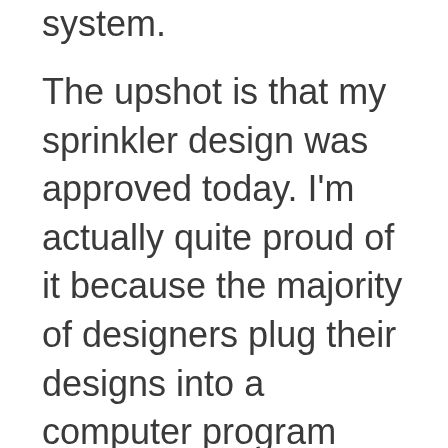system.
The upshot is that my sprinkler design was approved today. I'm actually quite proud of it because the majority of designers plug their designs into a computer program which tells them whether they are right or not. I did the calculations by hand, so I know that the design will work because I understand the underlying principles. OK, I used a spreadsheet, but I had to put the